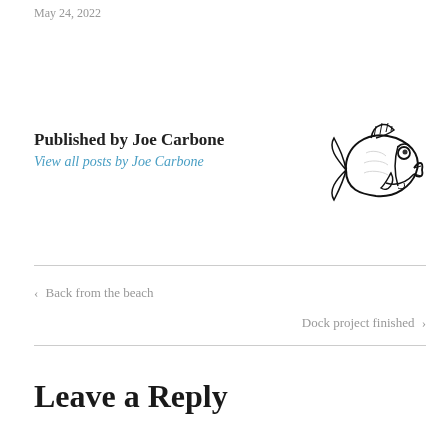May 24, 2022
Published by Joe Carbone
View all posts by Joe Carbone
[Figure (illustration): Black and white line drawing of a bass fish logo facing left, with stylized features including prominent eye and open mouth]
< Back from the beach
Dock project finished >
Leave a Reply